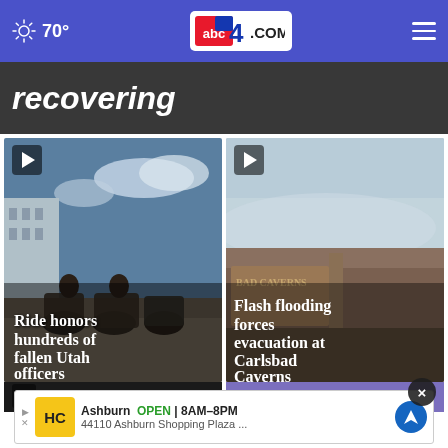70° abc4.com
recovering
[Figure (photo): Police officers on motorcycles at a memorial ride event. Caption overlay: Ride honors hundreds of fallen Utah officers]
[Figure (photo): Misty landscape near Carlsbad Caverns sign. Caption overlay: Flash flooding forces evacuation at Carlsbad Caverns]
Ashburn OPEN 8AM–8PM 44110 Ashburn Shopping Plaza ...